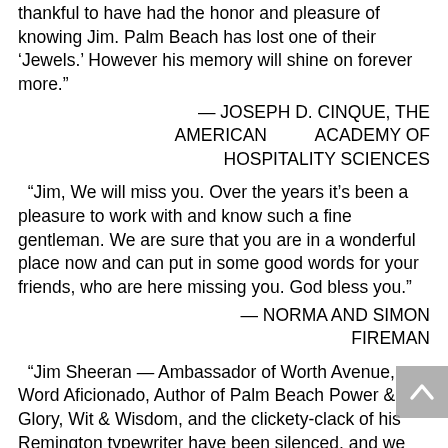thankful to have had the honor and pleasure of knowing Jim. Palm Beach has lost one of their ‘Jewels.’ However his memory will shine on forever more.”
— JOSEPH D. CINQUE, THE AMERICAN ACADEMY OF HOSPITALITY SCIENCES
“Jim, We will miss you. Over the years it’s been a pleasure to work with and know such a fine gentleman. We are sure that you are in a wonderful place now and can put in some good words for your friends, who are here missing you. God bless you.”
— NORMA AND SIMON FIREMAN
“Jim Sheeran — Ambassador of Worth Avenue, Word Aficionado, Author of Palm Beach Power & Glory, Wit & Wisdom, and the clickety-clack of his Remington typewriter have been silenced, and we will no longer be chided or guided, chilled or gilded by our cherished Sheeran whose passion for the written word was